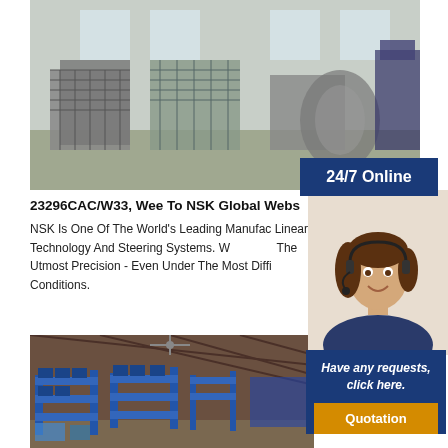[Figure (photo): Industrial warehouse interior showing stacks of metal mesh or chain-link rolls and machinery in background]
24/7 Online
23296CAC/W33, Wee To NSK Global Webs
NSK Is One Of The World's Leading Manufactu... Linear Technology And Steering Systems. W... The Utmost Precision - Even Under The Most Diffi... Conditions.
[Figure (photo): Customer service agent, woman wearing headset, smiling]
Have any requests, click here.
Quotation
[Figure (photo): Warehouse interior with blue shelving racks loaded with products/boxes]